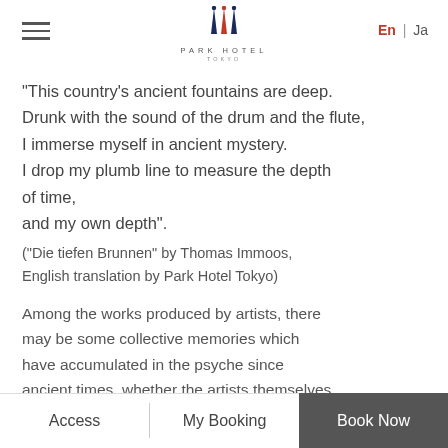Park Hotel Tokyo — En | Ja
“This country’s ancient fountains are deep.
Drunk with the sound of the drum and the flute,
I immerse myself in ancient mystery.
I drop my plumb line to measure the depth of time,
and my own depth”.
(“Die tiefen Brunnen” by Thomas Immoos, English translation by Park Hotel Tokyo)
Among the works produced by artists, there may be some collective memories which have accumulated in the psyche since ancient times, whether the artists themselves
Access | My Booking | Book Now